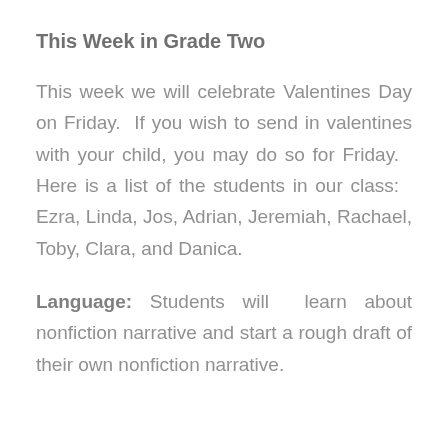This Week in Grade Two
This week we will celebrate Valentines Day on Friday.  If you wish to send in valentines with your child, you may do so for Friday.   Here is a list of the students in our class:   Ezra, Linda, Jos, Adrian, Jeremiah, Rachael, Toby, Clara, and Danica.
Language: Students will  learn about nonfiction narrative and start a rough draft of their own nonfiction narrative.